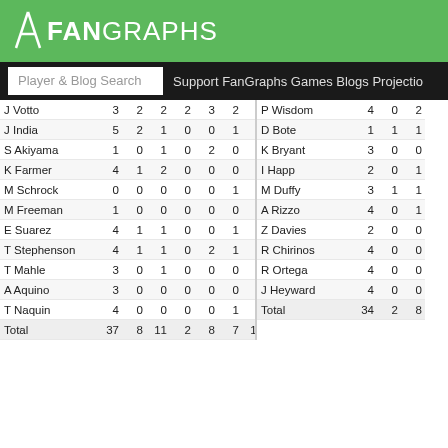FanGraphs
Player & Blog Search | Support FanGraphs Games Blogs Projectio...
| Player | AB | R | H | 2B | 3B | HR | LOB | WPA | RE24 |
| --- | --- | --- | --- | --- | --- | --- | --- | --- | --- |
| J Votto | 3 | 2 | 2 | 2 | 3 | 2 | 1 | 0.46 | .120 |
| J India | 5 | 2 | 1 | 0 | 0 | 1 | 1 | 0.44 | .016 |
| S Akiyama | 1 | 0 | 1 | 0 | 2 | 0 | 0 | 0.19 | .013 |
| K Farmer | 4 | 1 | 2 | 0 | 0 | 0 | 1 | 0.50 | .011 |
| M Schrock | 0 | 0 | 0 | 0 | 0 | 1 | 0 | 0.24 | .000 |
| M Freeman | 1 | 0 | 0 | 0 | 0 | 0 | 0 | 0.01 | .000 |
| E Suarez | 4 | 1 | 1 | 0 | 0 | 1 | 1 | 0.54 | -.002 |
| T Stephenson | 4 | 1 | 1 | 0 | 2 | 1 | 1 | 0.50 | -.009 |
| T Mahle | 3 | 0 | 1 | 0 | 0 | 0 | 1 | 0.66 | -.046 |
| A Aquino | 3 | 0 | 0 | 0 | 0 | 0 | 3 | 0.65 | -.055 |
| T Naquin | 4 | 0 | 0 | 0 | 0 | 1 | 1 | 0.51 | -.066 |
| Total | 37 | 8 | 11 | 2 | 8 | 7 | 10 | 0.50 | .144 |
| Player | AB | R | ... |
| --- | --- | --- | --- |
| P Wisdom | 4 | 0 | 2 |
| D Bote | 1 | 1 | 1 |
| K Bryant | 3 | 0 | 0 |
| I Happ | 2 | 0 | 1 |
| M Duffy | 3 | 1 | 1 |
| A Rizzo | 4 | 0 | 1 |
| Z Davies | 2 | 0 | 0 |
| R Chirinos | 4 | 0 | 0 |
| R Ortega | 4 | 0 | 0 |
| J Heyward | 4 | 0 | 0 |
| Total | 34 | 2 | 8 |